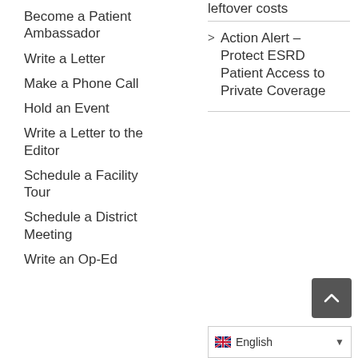leftover costs
Become a Patient Ambassador
Write a Letter
Make a Phone Call
Hold an Event
Write a Letter to the Editor
Schedule a Facility Tour
Schedule a District Meeting
Write an Op-Ed
> Action Alert – Protect ESRD Patient Access to Private Coverage
[Figure (screenshot): Back-to-top button (dark grey rounded square with upward chevron)]
[Figure (screenshot): Language selector dropdown showing UK flag and 'English' with dropdown arrow]